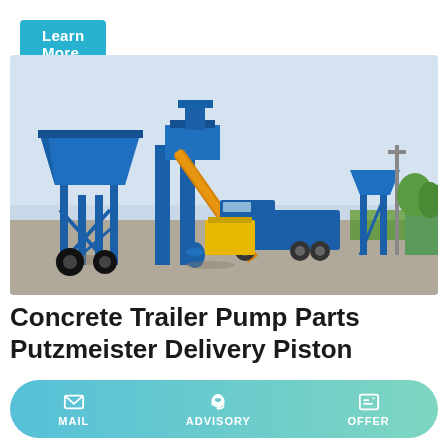Learn More
[Figure (photo): A blue concrete batching plant / trailer pump setup on an open paved area. The large blue steel-frame structure with hopper is on the left, a yellow diesel generator and blue dump truck in the center, and a smaller blue aggregate bin on the right. An orange auger/conveyor runs diagonally. Cloudy sky and green trees in background.]
Concrete Trailer Pump Parts Putzmeister Delivery Piston
MAIL
ADVISORY
OFFER